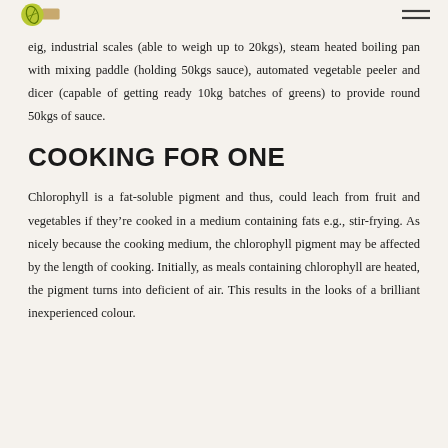[Logo and hamburger menu]
eig, industrial scales (able to weigh up to 20kgs), steam heated boiling pan with mixing paddle (holding 50kgs sauce), automated vegetable peeler and dicer (capable of getting ready 10kg batches of greens) to provide round 50kgs of sauce.
COOKING FOR ONE
Chlorophyll is a fat-soluble pigment and thus, could leach from fruit and vegetables if they're cooked in a medium containing fats e.g., stir-frying. As nicely because the cooking medium, the chlorophyll pigment may be affected by the length of cooking. Initially, as meals containing chlorophyll are heated, the pigment turns into deficient of air. This results in the looks of a brilliant inexperienced colour.